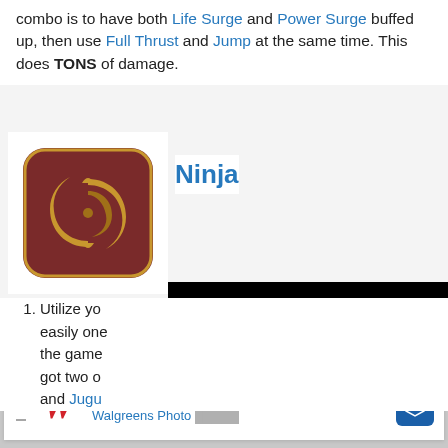combo is to have both Life Surge and Power Surge buffed up, then use Full Thrust and Jump at the same time. This does TONS of damage.
Ninja
[Figure (illustration): Ninja job icon: gold swirl emblem on dark red rounded square background with gold border]
[Figure (screenshot): Black video player screen with a white loading/buffering circle in the center]
Utilize yo... easily one... the game... got two o... and Jugu...
Use Enliv... Trick Attack. This is obvious to most seasoned NIN (of which there're like two.) However, Enliven was just recently buffed and so it is worth
[Figure (infographic): Walgreens advertisement banner: Shop Walgreens Brand & Save, Walgreens Photo]
increase in damage for both Trick